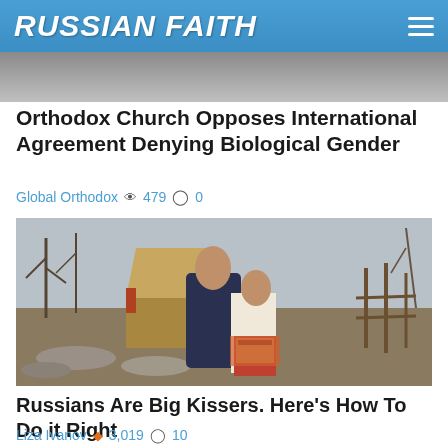RUSSIAN FAITH
[Figure (photo): Partial view of an image at the top of the page, cropped by the header]
Orthodox Church Opposes International Agreement Denying Biological Gender
Global Orthodox 👁 479 💬 0
[Figure (photo): Russian realist painting of a man and woman kissing outdoors in a rural winter landscape, the woman wearing traditional Russian dress with colorful embroidered apron and red skirt]
Russians Are Big Kissers. Here's How To Do it Right
Liza Ivanov 🔥 3,019 💬 10